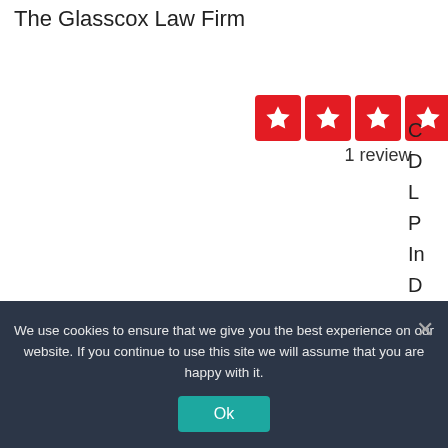The Glasscox Law Firm
[Figure (other): Five red star rating boxes with white stars, showing a 5-star Yelp-style rating]
1 review
C
D
L
P
In
D
Moore Gene T Attorney At Law
We use cookies to ensure that we give you the best experience on our website. If you continue to use this site we will assume that you are happy with it.
Ok